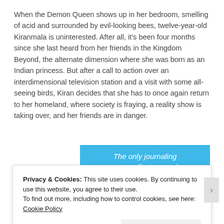When the Demon Queen shows up in her bedroom, smelling of acid and surrounded by evil-looking bees, twelve-year-old Kiranmala is uninterested. After all, it's been four months since she last heard from her friends in the Kingdom Beyond, the alternate dimension where she was born as an Indian princess. But after a call to action over an interdimensional television station and a visit with some all-seeing birds, Kiran decides that she has to once again return to her homeland, where society is fraying, a reality show is taking over, and her friends are in danger.
[Figure (screenshot): Blue advertisement banner with italic white text reading 'The only journaling app you'll ever need.' with decorative star/sparkle elements and a button below]
Privacy & Cookies: This site uses cookies. By continuing to use this website, you agree to their use.
To find out more, including how to control cookies, see here: Cookie Policy
Close and accept